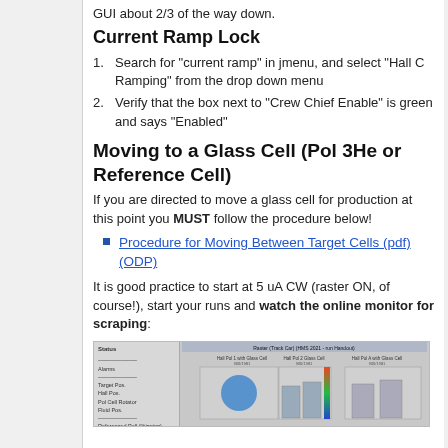GUI about 2/3 of the way down.
Current Ramp Lock
1. Search for "current ramp" in jmenu, and select "Hall C Ramping" from the drop down menu
2. Verify that the box next to "Crew Chief Enable" is green and says "Enabled"
Moving to a Glass Cell (Pol 3He or Reference Cell)
If you are directed to move a glass cell for production at this point you MUST follow the procedure below!
Procedure for Moving Between Target Cells (pdf) (ODP)
It is good practice to start at 5 uA CW (raster ON, of course!), start your runs and watch the online monitor for scraping:
[Figure (screenshot): Screenshot of an online monitor application showing target cell data with a circular blue target visualization and bar chart columns for Hall C target monitoring.]